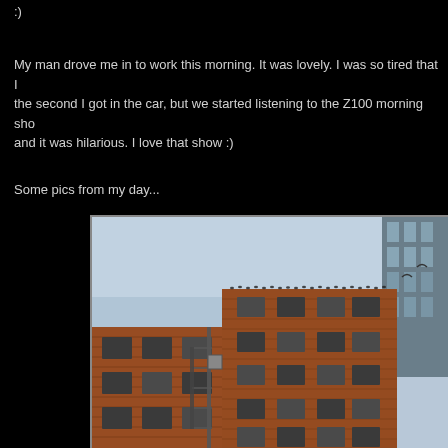:)
My man drove me in to work this morning. It was lovely. I was so tired that I the second I got in the car, but we started listening to the Z100 morning sho and it was hilarious. I love that show :)
Some pics from my day...
[Figure (photo): Photo of a red brick apartment building shot from below against an overcast sky. The building has multiple stories with many windows and fire escapes on the left side. Birds are perched along the roofline. A modern glass building is partially visible on the right.]